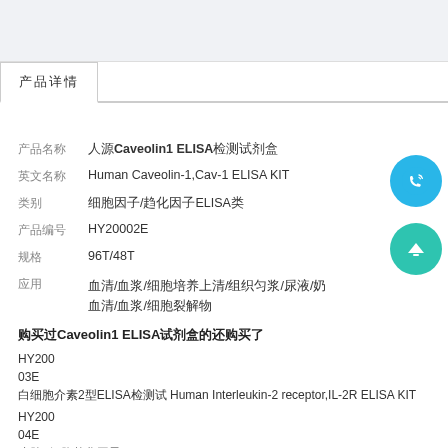产品详情
产品名称  人源Caveolin1 ELISA检测试剂盒
英文名称  Human Caveolin-1,Cav-1 ELISA KIT
类别  细胞因子/趋化因子ELISA类
产品编号  HY20002E
规格  96T/48T
应用  血清/血浆/细胞培养上清/组织匀浆/尿液/奶
血清/血浆/细胞裂解物
购买过Caveolin1 ELISA试剂盒的还购买了
HY200  白细胞介素2型ELISA检测试 Human Interleukin-2 receptor,IL-2R ELISA KIT
03E
HY200  皮肤T细胞趋化因子ELIS Human cutaneous T cell-attracting chemokine,CTACK E
04E  A试剂盒  LISA KIT